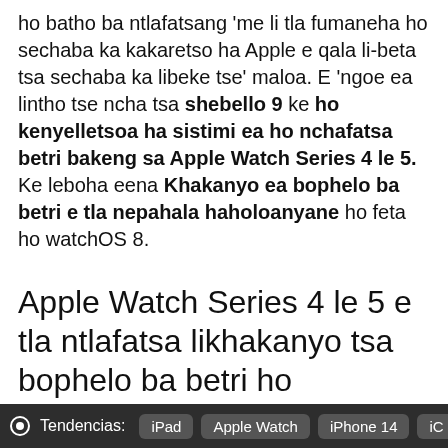ho batho ba ntlafatsang 'me li tla fumaneha ho sechaba ka kakaretso ha Apple e qala li-beta tsa sechaba ka libeke tse' maloa. E 'ngoe ea lintho tse ncha tsa shebello 9 ke ho kenyelletsoa ha sistimi ea ho nchafatsa betri bakeng sa Apple Watch Series 4 le 5. Ke leboha eena Khakanyo ea bophelo ba betri e tla nepahala haholoanyane ho feta ho watchOS 8.
Apple Watch Series 4 le 5 e tla ntlafatsa likhakanyo tsa bophelo ba betri ho watchOS 9
Ho iOS 15.4 Apple e kenyellelitse sistimi e ts'oanang
Tendencias: iPad  Apple Watch  iPhone 14  iC